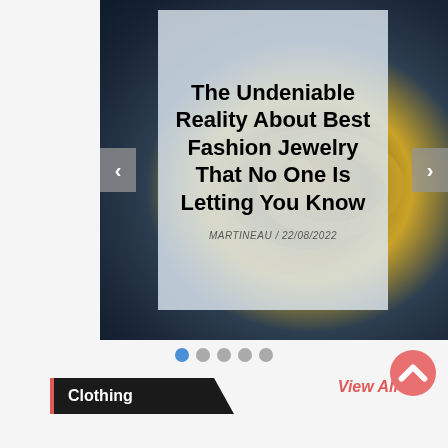[Figure (screenshot): Website slider/carousel showing an article titled 'The Undeniable Reality About Best Fashion Jewelry That No One Is Letting You Know' by MARTINEAU on 22/08/2022. The slide has a dark navy background with gold jewelry visible, and a frosted panel overlaying the text. Navigation arrows visible on left and right sides.]
MARTINEAU / 22/08/2022
Clothing
View All